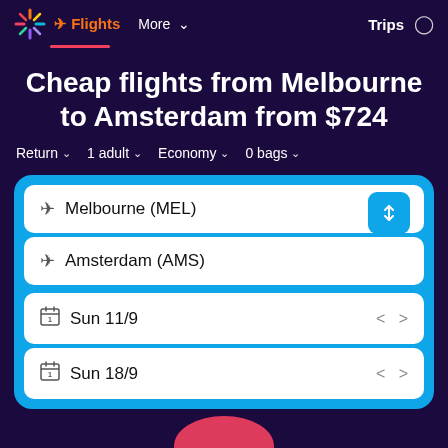Flights | More | Trips
Cheap flights from Melbourne to Amsterdam from $724
Return  1 adult  Economy  0 bags
Melbourne (MEL)
Amsterdam (AMS)
Sun 11/9
Sun 18/9